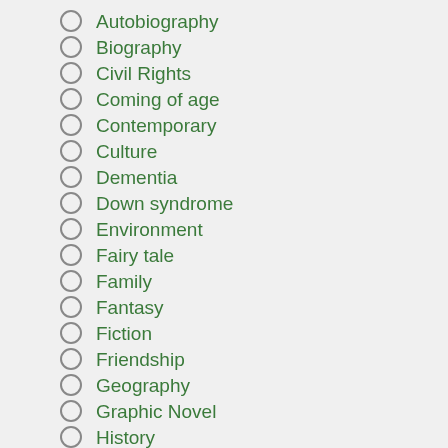Autobiography
Biography
Civil Rights
Coming of age
Contemporary
Culture
Dementia
Down syndrome
Environment
Fairy tale
Family
Fantasy
Fiction
Friendship
Geography
Graphic Novel
History
Home